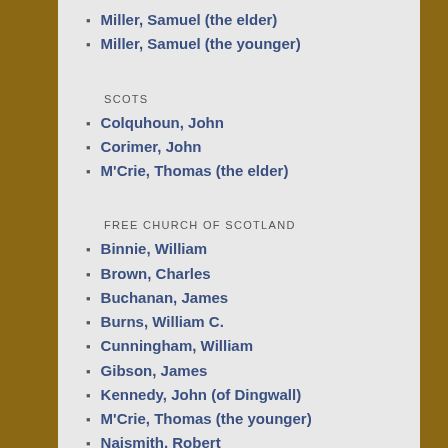Miller, Samuel (the elder)
Miller, Samuel (the younger)
SCOTS
Colquhoun, John
Corimer, John
M'Crie, Thomas (the elder)
FREE CHURCH OF SCOTLAND
Binnie, William
Brown, Charles
Buchanan, James
Burns, William C.
Cunningham, William
Gibson, James
Kennedy, John (of Dingwall)
M'Crie, Thomas (the younger)
Naismith, Robert
Scott, David
Walker, James
Walker, Norman